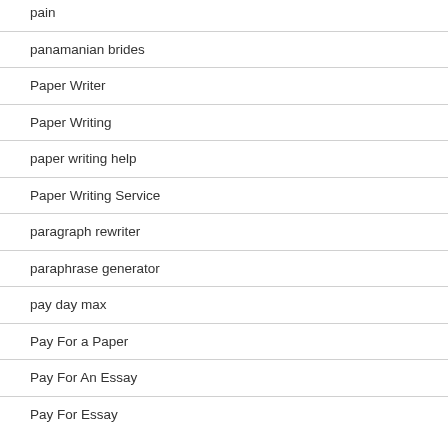pain
panamanian brides
Paper Writer
Paper Writing
paper writing help
Paper Writing Service
paragraph rewriter
paraphrase generator
pay day max
Pay For a Paper
Pay For An Essay
Pay For Essay